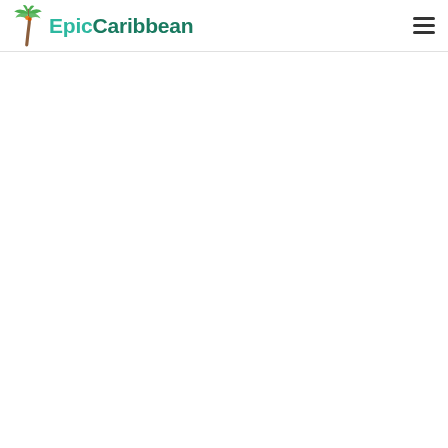EpicCaribbean
[Figure (logo): EpicCaribbean logo with a palm tree icon on the left and the text 'EpicCaribbean' in teal/green beside it, plus a hamburger menu icon on the right]